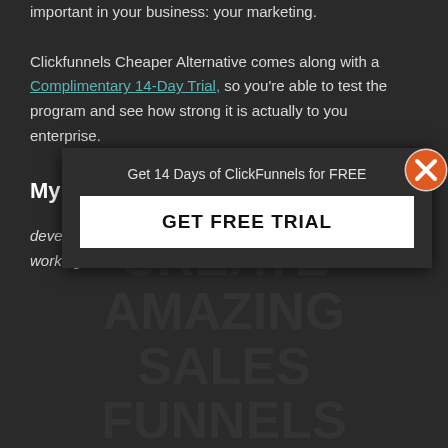important in your business: your marketing. Clickfunnels Cheaper Alternative comes along with a Complimentary 14-Day Trial, so you're able to test the program and see how strong it is actually to you enterprise.
My favourite functions
develop … working with Templates and factors.
[Figure (screenshot): Popup overlay with text 'Get 14 Days of ClickFunnels for FREE' and a white button labeled 'GET FREE TRIAL', with an orange X close button in the top right corner]
CREATE AMAZING SALES FUNNELS